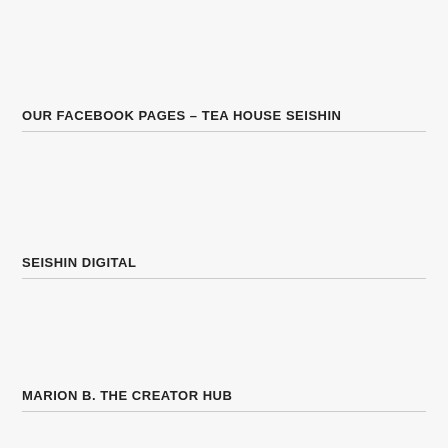OUR FACEBOOK PAGES – TEA HOUSE SEISHIN
SEISHIN DIGITAL
MARION B. THE CREATOR HUB